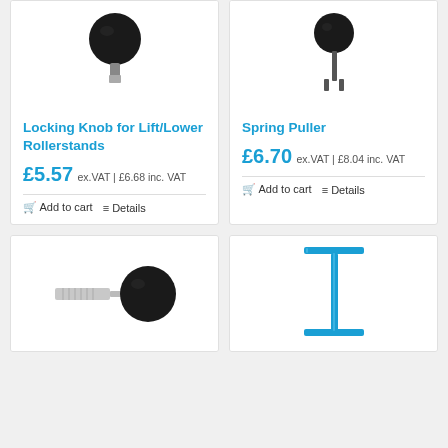[Figure (photo): Black round locking knob product photo on white background]
Locking Knob for Lift/Lower Rollerstands
£5.57 ex.VAT | £6.68 inc. VAT
Add to cart   Details
[Figure (photo): Spring Puller tool product photo on white background]
Spring Puller
£6.70 ex.VAT | £8.04 inc. VAT
Add to cart   Details
[Figure (photo): Chrome and black locking knob screw product photo]
[Figure (photo): Blue T-bar spring puller tool product photo]